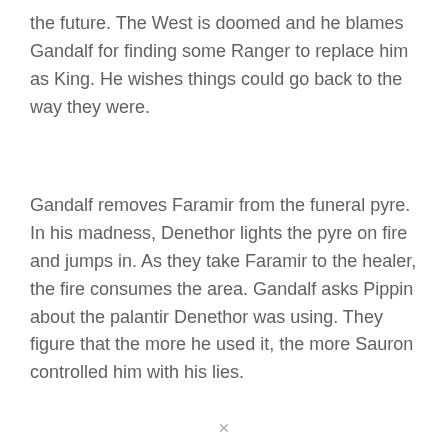the future. The West is doomed and he blames Gandalf for finding some Ranger to replace him as King. He wishes things could go back to the way they were.
Gandalf removes Faramir from the funeral pyre. In his madness, Denethor lights the pyre on fire and jumps in. As they take Faramir to the healer, the fire consumes the area. Gandalf asks Pippin about the palantir Denethor was using. They figure that the more he used it, the more Sauron controlled him with his lies.